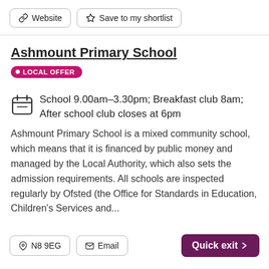Website
Save to my shortlist
Ashmount Primary School
LOCAL OFFER
School 9.00am-3.30pm; Breakfast club 8am; After school club closes at 6pm
Ashmount Primary School is a mixed community school, which means that it is financed by public money and managed by the Local Authority, which also sets the admission requirements. All schools are inspected regularly by Ofsted (the Office for Standards in Education, Children's Services and...
N8 9EG
Email
Quick exit >